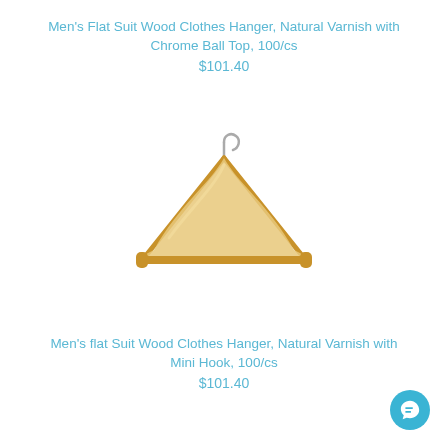Men's Flat Suit Wood Clothes Hanger, Natural Varnish with Chrome Ball Top, 100/cs
$101.40
[Figure (photo): A wooden clothes hanger with natural varnish finish, chrome hook at top, and a flat bar at the bottom with orange/amber colored end notches.]
Men's flat Suit Wood Clothes Hanger, Natural Varnish with Mini Hook, 100/cs
$101.40